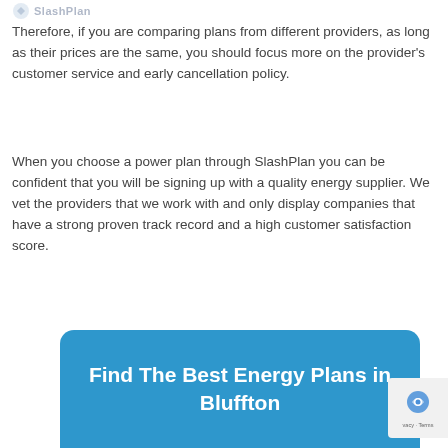SlashPlan
Therefore, if you are comparing plans from different providers, as long as their prices are the same, you should focus more on the provider's customer service and early cancellation policy.
When you choose a power plan through SlashPlan you can be confident that you will be signing up with a quality energy supplier. We vet the providers that we work with and only display companies that have a strong proven track record and a high customer satisfaction score.
Find The Best Energy Plans in Bluffton